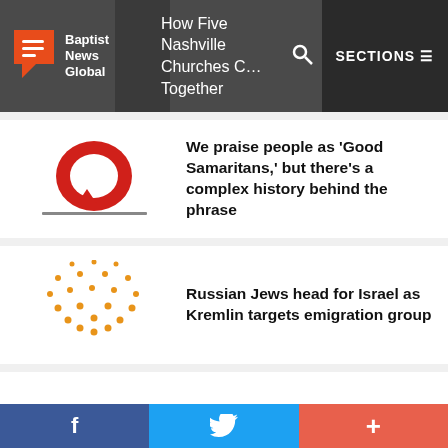Baptist News Global — How Five Nashville Churches C… Together — SECTIONS
[Figure (logo): Baptist News Global logo — orange speech bubble with menu icon]
We praise people as 'Good Samaritans,' but there's a complex history behind the phrase
[Figure (logo): Red circular speech bubble logo]
Russian Jews head for Israel as Kremlin targets emigration group
[Figure (logo): Orange dotted semicircle / fan pattern logo]
'God is life,' Rabbi Yonatan Neril on ecological conversion and the war in Ukraine
[Figure (logo): KIIS red logo text]
In case you missed it. Catch our
f  🐦  +